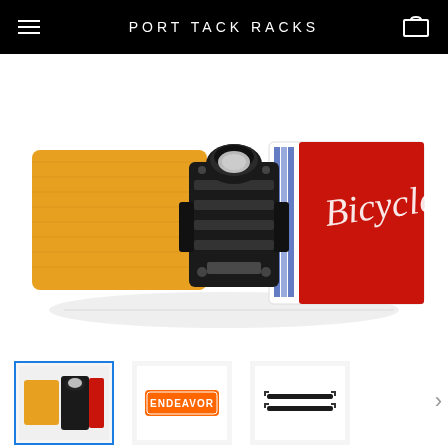PORT TACK RACKS
[Figure (photo): A skateboard deck truck/rack accessory (black metal bracket) clamping a playing card deck onto a wooden skateboard, shown close-up on white background]
[Figure (photo): Thumbnail 1 (selected): Same skateboard deck rack product, close-up, blue border indicating active selection]
[Figure (photo): Thumbnail 2: 'ENDEAVOR' logo/badge product thumbnail]
[Figure (photo): Thumbnail 3: Black straps/leash accessories product thumbnail]